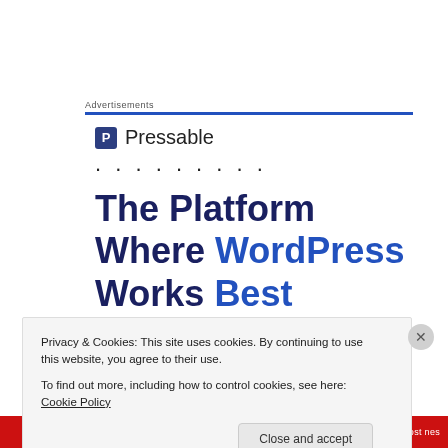Advertisements
[Figure (logo): Pressable logo with blue square icon containing letter P and text 'Pressable']
The Platform Where WordPress Works Best
Privacy & Cookies: This site uses cookies. By continuing to use this website, you agree to their use.
To find out more, including how to control cookies, see here: Cookie Policy
Close and accept